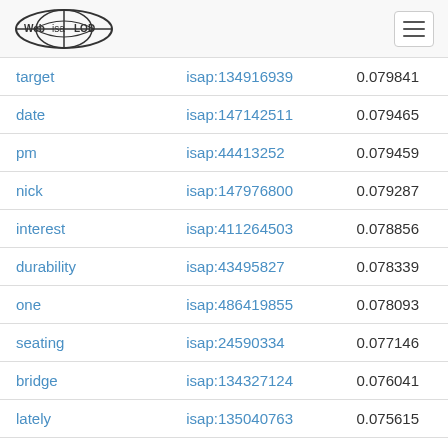Web isa LOD
| target | isap:134916939 | 0.079841 |
| date | isap:147142511 | 0.079465 |
| pm | isap:44413252 | 0.079459 |
| nick | isap:147976800 | 0.079287 |
| interest | isap:411264503 | 0.078856 |
| durability | isap:43495827 | 0.078339 |
| one | isap:486419855 | 0.078093 |
| seating | isap:24590334 | 0.077146 |
| bridge | isap:134327124 | 0.076041 |
| lately | isap:135040763 | 0.075615 |
| unit | isap:152306092 | 0.074809 |